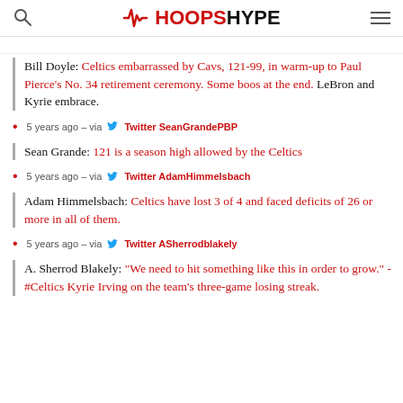HOOPSHYPE
Bill Doyle: Celtics embarrassed by Cavs, 121-99, in warm-up to Paul Pierce's No. 34 retirement ceremony. Some boos at the end. LeBron and Kyrie embrace.
5 years ago – via Twitter SeanGrandePBP
Sean Grande: 121 is a season high allowed by the Celtics
5 years ago – via Twitter AdamHimmelsbach
Adam Himmelsbach: Celtics have lost 3 of 4 and faced deficits of 26 or more in all of them.
5 years ago – via Twitter ASherrodblakely
A. Sherrod Blakely: "We need to hit something like this in order to grow." - #Celtics Kyrie Irving on the team's three-game losing streak.